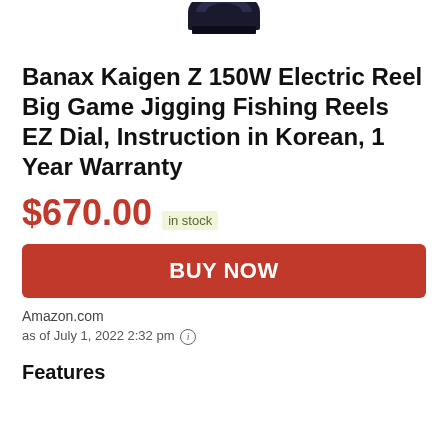[Figure (photo): Partial bottom view of a black electric fishing reel]
Banax Kaigen Z 150W Electric Reel Big Game Jigging Fishing Reels EZ Dial, Instruction in Korean, 1 Year Warranty
$670.00 in stock
BUY NOW
Amazon.com
as of July 1, 2022 2:32 pm ℹ
Features